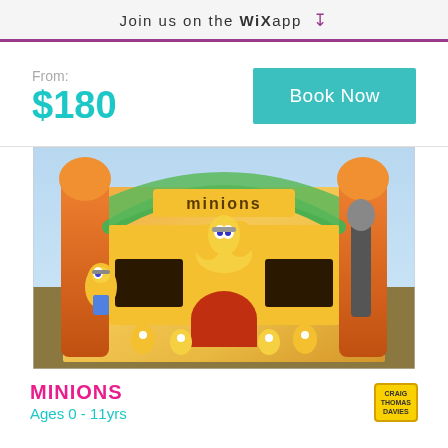Join us on the WiX app
From:
$180
Book Now
[Figure (photo): Minions-themed inflatable bounce house/castle with orange pillars, green roof arch, and colorful Minions characters printed on the front panels]
MINIONS
Ages 0 - 11yrs